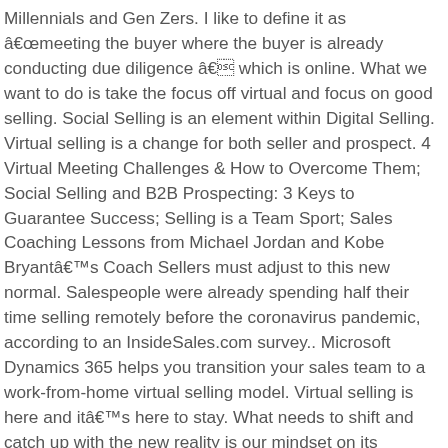Millennials and Gen Zers. I like to define it as “meeting the buyer where the buyer is already conducting due diligence ” which is online. What we want to do is take the focus off virtual and focus on good selling. Social Selling is an element within Digital Selling. Virtual selling is a change for both seller and prospect. 4 Virtual Meeting Challenges & How to Overcome Them; Social Selling and B2B Prospecting: 3 Keys to Guarantee Success; Selling is a Team Sport; Sales Coaching Lessons from Michael Jordan and Kobe Bryant’s Coach Sellers must adjust to this new normal. Salespeople were already spending half their time selling remotely before the coronavirus pandemic, according to an InsideSales.com survey.. Microsoft Dynamics 365 helps you transition your sales team to a work-from-home virtual selling model. Virtual selling is here and it’s here to stay. What needs to shift and catch up with the new reality is our mindset on its effectiveness. A clear structure is really important. It’s surprising just how challenging sellers find the new virtual … The core skill set of what makes a great sales rep will remain the same, but certain skills will now have elevated levels of importance. But there’s still confusion on what is virtual selling. The opportunities and challenges are different from in-person selling and can ultimately make you a more efficient and effective salesperson, able